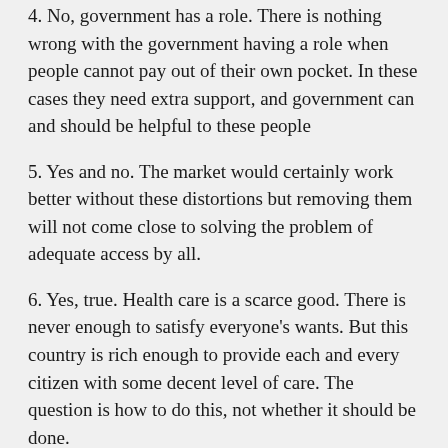4. No, government has a role. There is nothing wrong with the government having a role when people cannot pay out of their own pocket. In these cases they need extra support, and government can and should be helpful to these people
5. Yes and no. The market would certainly work better without these distortions but removing them will not come close to solving the problem of adequate access by all.
6. Yes, true. Health care is a scarce good. There is never enough to satisfy everyone's wants. But this country is rich enough to provide each and every citizen with some decent level of care. The question is how to do this, not whether it should be done.
7. Yes, health care is an economic good and like